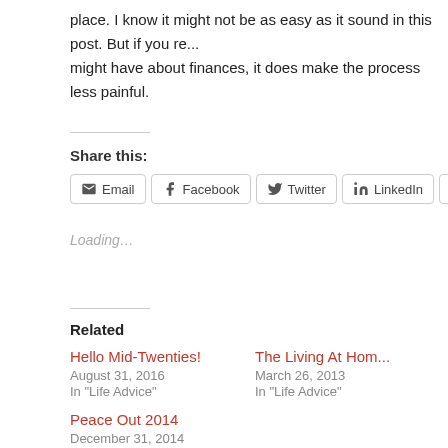place. I know it might not be as easy as it sound in this post. But if you re... might have about finances, it does make the process less painful.
Share this:
Email  Facebook  Twitter  LinkedIn  Pinterest
Loading...
Related
Hello Mid-Twenties!
August 31, 2016
In "Life Advice"
The Living At Hom...
March 26, 2013
In "Life Advice"
Peace Out 2014
December 31, 2014
In "Career Advice"